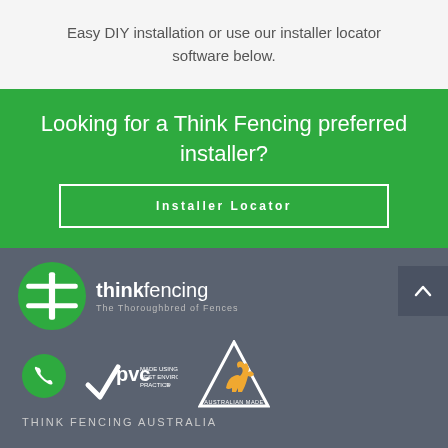Easy DIY installation or use our installer locator software below.
Looking for a Think Fencing preferred installer?
Installer Locator
[Figure (logo): Think Fencing logo with green circle and cross/fence icon, text 'thinkfencing The Thoroughbred of Fences']
[Figure (logo): PVC Made Using Best Environmental Practice badge]
[Figure (logo): Australian Made triangle logo with kangaroo]
THINK FENCING AUSTRALIA